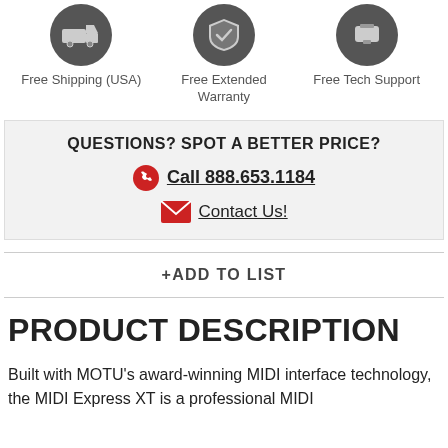[Figure (illustration): Three circular dark icons in a row: truck/car for Free Shipping, shield for Free Extended Warranty, phone/headset for Free Tech Support]
Free Shipping (USA)
Free Extended Warranty
Free Tech Support
QUESTIONS? SPOT A BETTER PRICE?
Call 888.653.1184
Contact Us!
+ADD TO LIST
PRODUCT DESCRIPTION
Built with MOTU's award-winning MIDI interface technology, the MIDI Express XT is a professional MIDI